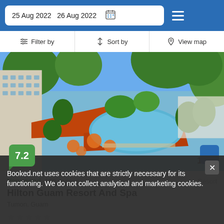25 Aug 2022  26 Aug 2022
Filter by  Sort by  View map
[Figure (photo): Aerial view of Hilton Guam Resort And Spa showing pool area, tropical gardens, resort buildings and ocean in background]
7.2
Very good  150 reviews  Resort
Hilton Guam Resort And Spa
Tumon, Guam
★ ★ ★ ★ ★
163$
Booked.net uses cookies that are strictly necessary for its functioning. We do not collect analytical and marketing cookies.